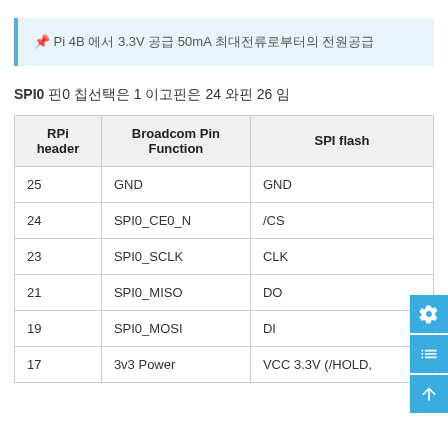라즈베리 Pi 4B 핀에서 3.3V 공급 50mA 최대전류로부터의 전원공급
SPI0 핀0 칩선택은 1 이고핀은 24 와핀 26 임
| RPi header | Broadcom Pin Function | SPI flash |
| --- | --- | --- |
| 25 | GND | GND |
| 24 | SPI0_CE0_N | /CS |
| 23 | SPI0_SCLK | CLK |
| 21 | SPI0_MISO | DO |
| 19 | SPI0_MOSI | DI |
| 17 | 3v3 Power | VCC 3.3V (/HOLD, |